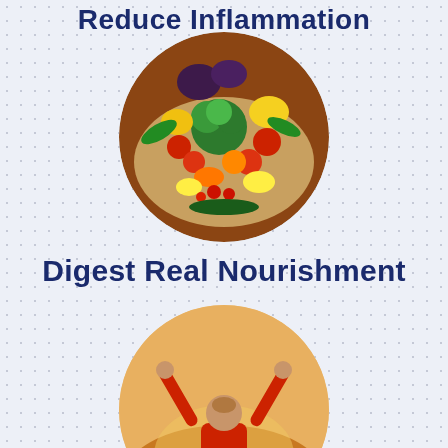Reduce Inflammation
[Figure (photo): Circular photo of colorful fresh vegetables and fruits including broccoli, peppers, tomatoes, apples, lemons, and greens in a basket]
Digest Real Nourishment
[Figure (photo): Circular photo of a person in a red shirt with arms raised triumphantly against a warm backlit sky]